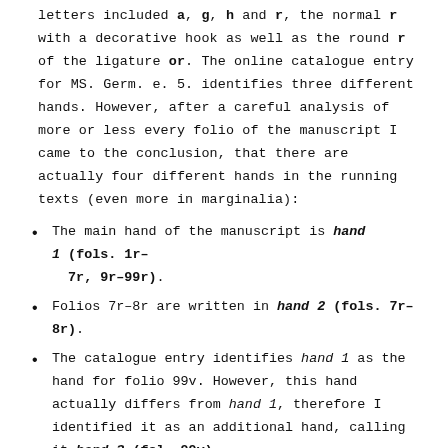letters included a, g, h and r, the normal r with a decorative hook as well as the round r of the ligature or. The online catalogue entry for MS. Germ. e. 5. identifies three different hands. However, after a careful analysis of more or less every folio of the manuscript I came to the conclusion, that there are actually four different hands in the running texts (even more in marginalia):
The main hand of the manuscript is hand 1 (fols. 1r-7r, 9r-99r).
Folios 7r-8r are written in hand 2 (fols. 7r-8r).
The catalogue entry identifies hand 1 as the hand for folio 99v. However, this hand actually differs from hand 1, therefore I identified it as an additional hand, calling it hand 3 (fol. 99v).
Hand 4 (fols. 100r-104v) can be identified for the